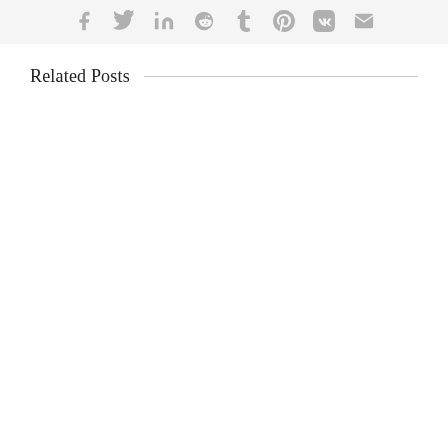[Figure (other): Social share bar with icons for Facebook, Twitter, LinkedIn, Reddit, Tumblr, Pinterest, VK, and Email]
Related Posts